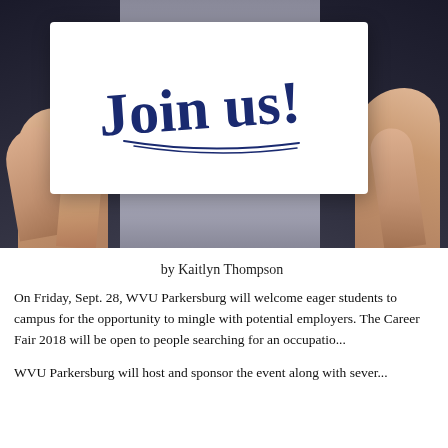[Figure (photo): Person in a dark suit holding a white card with 'Join us!' written in blue cursive handwriting]
by Kaitlyn Thompson
On Friday, Sept. 28, WVU Parkersburg will welcome eager students to campus for the opportunity to mingle with potential employers. The Career Fair 2018 will be open to people searching for an occupatio...
WVU Parkersburg will host and sponsor the event along with sever...